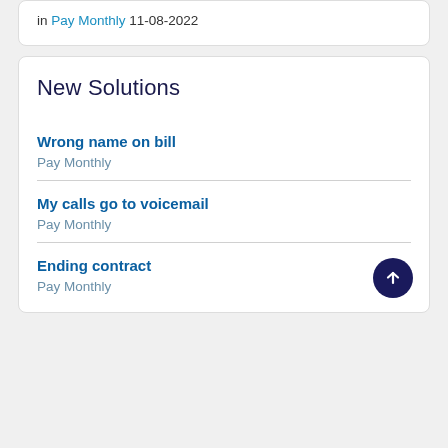in Pay Monthly 11-08-2022
New Solutions
Wrong name on bill
Pay Monthly
My calls go to voicemail
Pay Monthly
Ending contract
Pay Monthly